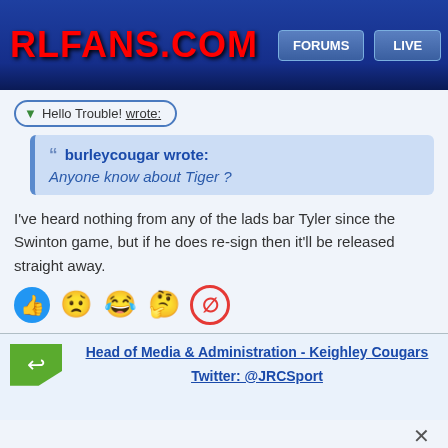RLFANS.COM  FORUMS  LIVE
Hello Trouble! wrote:
burleycougar wrote:
Anyone know about Tiger ?
I've heard nothing from any of the lads bar Tyler since the Swinton game, but if he does re-sign then it'll be released straight away.
Head of Media & Administration - Keighley Cougars
Twitter: @JRCSport
Re: 2016 Season Ins and Outs
Wed Nov 04 2015 9:48